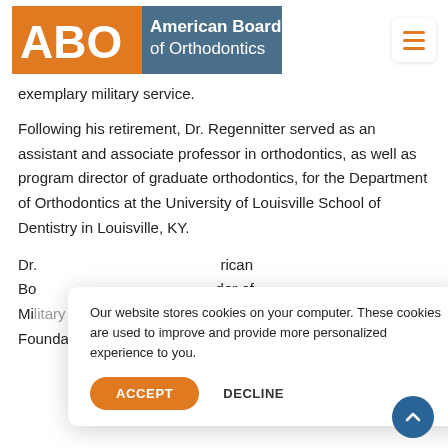[Figure (logo): American Board of Orthodontics logo with orange ABO letters and dark blue-grey background with white text]
exemplary military service.
Following his retirement, Dr. Regennitter served as an assistant and associate professor in orthodontics, as well as program director of graduate orthodontics, for the Department of Orthodontics at the University of Louisville School of Dentistry in Louisville, KY.
Dr. [partially obscured] ...American Board...der of Military Merit and the Charles H. Tweed International Foundation. Dr. Regennitter is also a fellow of the
Our website stores cookies on your computer. These cookies are used to improve and provide more personalized experience to you.
ACCEPT
DECLINE